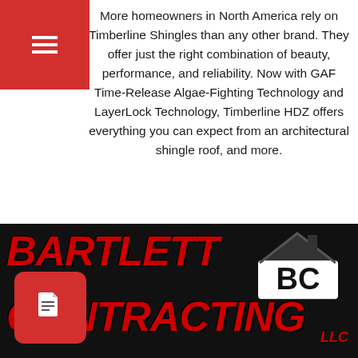More homeowners in North America rely on Timberline Shingles than any other brand. They offer just the right combination of beauty, performance, and reliability. Now with GAF Time-Release Algae-Fighting Technology and LayerLock Technology, Timberline HDZ offers everything you can expect from an architectural shingle roof, and more.
[Figure (other): Red arrow pointing left with 'Go Back' text label]
[Figure (logo): Bartlett Contracting LLC logo with red bold italic text on black background and BC house logo badge]